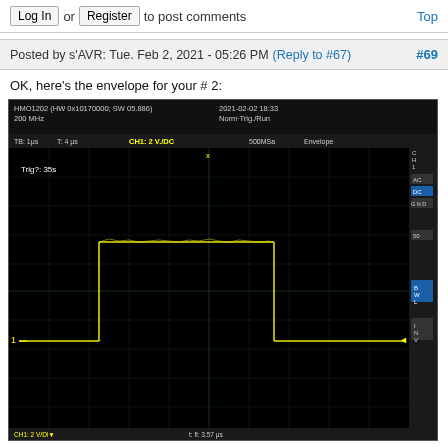Log In or Register to post comments   Top
Posted by s'AVR: Tue. Feb 2, 2021 - 05:26 PM (Reply to #67) #69
OK, here's the envelope for your # 2:
[Figure (screenshot): Oscilloscope screenshot from HMO1202, 200 MHz, showing an envelope waveform. TB: 1µs, T: 4µs, CH1: 2V/DC, 500MSa, Envelope mode. Trig?: 35s. Yellow waveform shows a rectangular pulse envelope with high section spanning roughly middle-left area.]